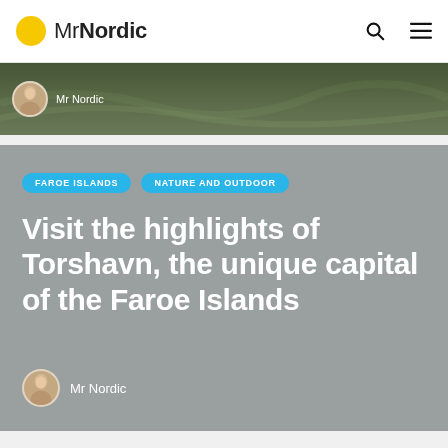MrNordic
[Figure (photo): Hero banner photo: aerial view of green landscape with roads/paths, dark tones. Shows avatar of Mr Nordic author.]
FAROE ISLANDS    NATURE AND OUTDOOR
Visit the highlights of Torshavn, the unique capital of the Faroe Islands
Mr Nordic